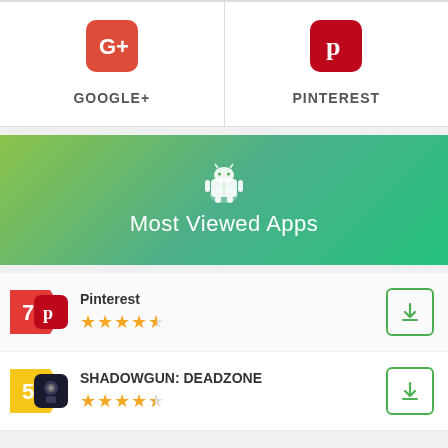[Figure (logo): Google+ red rounded square icon with G+ symbol]
GOOGLE+
[Figure (logo): Pinterest red rounded square icon with P symbol]
PINTEREST
[Figure (illustration): Green gradient banner with Android robot icon and text Most Viewed Apps]
Most Viewed Apps
Pinterest
SHADOWGUN: DEADZONE